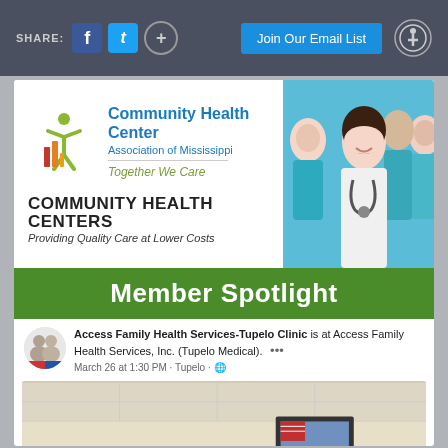SHARE: f t + | Join Our Email List
[Figure (logo): Community Health Center Association of Mississippi logo with green figure and red/orange bars. Text: Community Health Center Association of Mississippi, Together We Care, COMMUNITY HEALTH CENTERS, Providing Quality Care at Lower Costs]
[Figure (photo): Group of smiling healthcare professionals in scrubs and white coats with stethoscopes]
Member Spotlight
Access Family Health Services-Tupelo Clinic is at Access Family Health Services, Inc. (Tupelo Medical). March 26 at 1:30 PM · Tupelo · 🌐
[Figure (photo): Interior photo of a medical clinic room with a person visible]